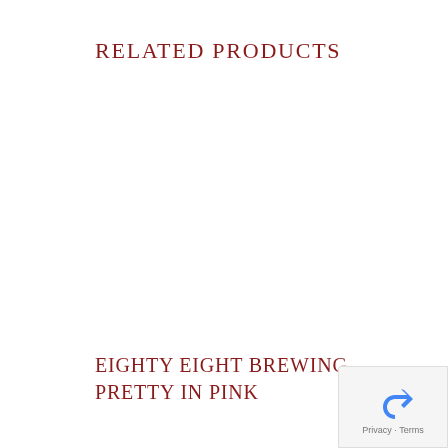RELATED PRODUCTS
EIGHTY EIGHT BREWING
PRETTY IN PINK
[Figure (logo): Google reCAPTCHA badge with blue circular arrow icon and 'Privacy - Terms' text]